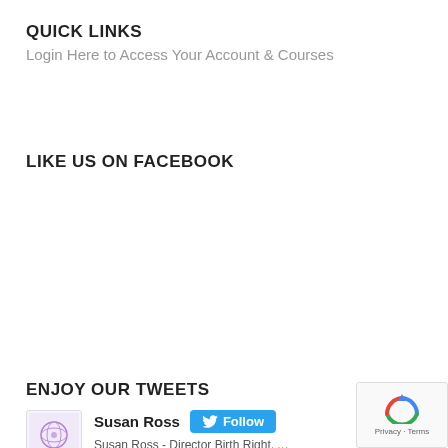QUICK LINKS
Login Here to Access Your Account & Courses
LIKE US ON FACEBOOK
ENJOY OUR TWEETS
Susan Ross
Susan Ross - Director Birth Right, Author, Inside Bir... Educator & Doula Trainer, Midwifery background